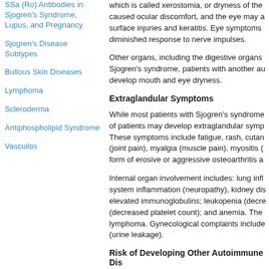SSa (Ro) Antibodies in Sjogren's Syndrome, Lupus, and Pregnancy
Sjogren's Disease Subtypes
Bullous Skin Diseases
Lymphoma
Scleroderma
Antiphospholipid Syndrome
Vasculitis
which is called xerostomia, or dryness of the caused ocular discomfort, and the eye may a surface injuries and keratitis. Eye symptoms diminished response to nerve impulses.
Other organs, including the digestive organs Sjogren's syndrome, patients with another au develop mouth and eye dryness.
Extraglandular Symptoms
While most patients with Sjogren's syndrome of patients may develop extraglandular symp These symptoms include fatigue, rash, cutan (joint pain), myalgia (muscle pain), myositis ( form of erosive or aggressive osteoarthritis a
Internal organ involvement includes: lung infl system inflammation (neuropathy), kidney dis elevated immunoglobulins; leukopenia (decre (decreased platelet count); and anemia. The lymphoma. Gynecological complaints include (urine leakage).
Risk of Developing Other Autoimmune Dis